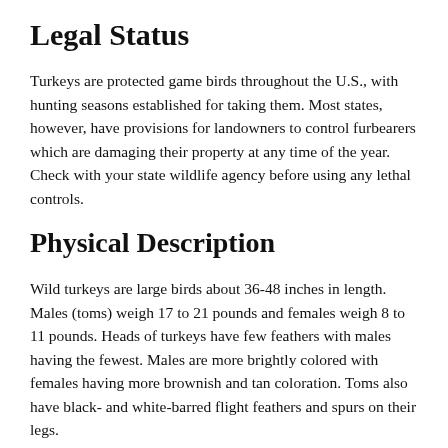Legal Status
Turkeys are protected game birds throughout the U.S., with hunting seasons established for taking them. Most states, however, have provisions for landowners to control furbearers which are damaging their property at any time of the year. Check with your state wildlife agency before using any lethal controls.
Physical Description
Wild turkeys are large birds about 36-48 inches in length. Males (toms) weigh 17 to 21 pounds and females weigh 8 to 11 pounds. Heads of turkeys have few feathers with males having the fewest. Males are more brightly colored with females having more brownish and tan coloration. Toms also have black- and white-barred flight feathers and spurs on their legs.